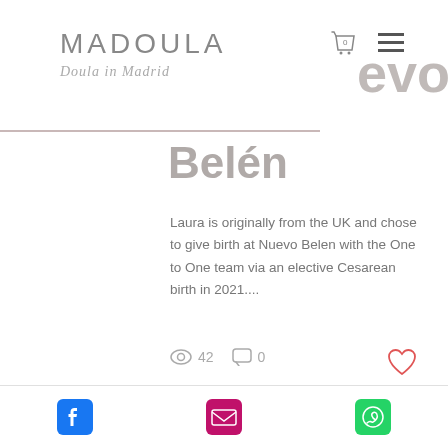MADOULA Doula in Madrid
Belén
Laura is originally from the UK and chose to give birth at Nuevo Belen with the One to One team via an elective Cesarean birth in 2021....
42 views · 0 comments · Like
Madison Kannadel